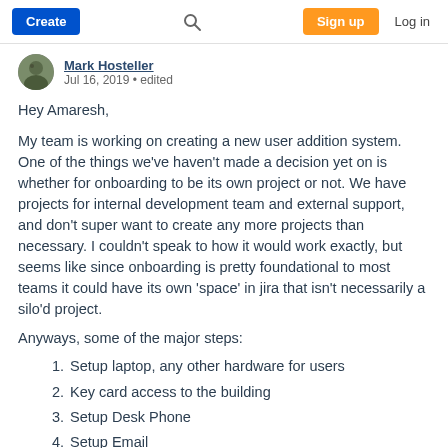Create | [search] | Sign up | Log in
[Figure (photo): Avatar photo of Mark Hosteller]
Mark Hosteller
Jul 16, 2019 • edited
Hey Amaresh,
My team is working on creating a new user addition system. One of the things we've haven't made a decision yet on is whether for onboarding to be its own project or not. We have projects for internal development team and external support, and don't super want to create any more projects than necessary. I couldn't speak to how it would work exactly, but seems like since onboarding is pretty foundational to most teams it could have its own 'space' in jira that isn't necessarily a silo'd project.
Anyways, some of the major steps:
1. Setup laptop, any other hardware for users
2. Key card access to the building
3. Setup Desk Phone
4. Setup Email
5. Assign to Email Distribution Lists